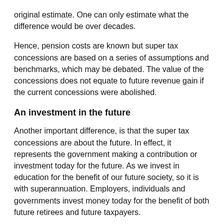original estimate. One can only estimate what the difference would be over decades.
Hence, pension costs are known but super tax concessions are based on a series of assumptions and benchmarks, which may be debated. The value of the concessions does not equate to future revenue gain if the current concessions were abolished.
An investment in the future
Another important difference, is that the super tax concessions are about the future. In effect, it represents the government making a contribution or investment today for the future. As we invest in education for the benefit of our future society, so it is with superannuation. Employers, individuals and governments invest money today for the benefit of both future retirees and future taxpayers.